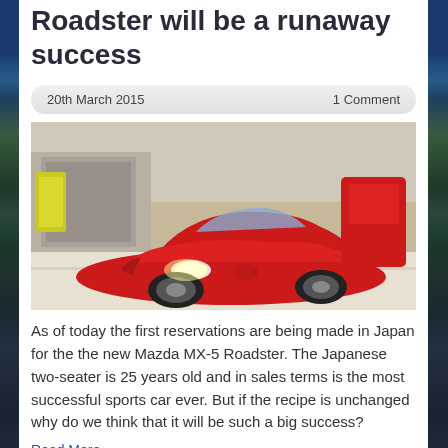Roadster will be a runaway success
20th March 2015   1 Comment
[Figure (photo): Red Mazda MX-5 Roadster on a factory floor, front three-quarter view, with other cars visible in background]
As of today the first reservations are being made in Japan for the the new Mazda MX-5 Roadster. The Japanese two-seater is 25 years old and in sales terms is the most successful sports car ever. But if the recipe is unchanged why do we think that it will be such a big success?
Read More...
Jaguar F-Type Major Updates